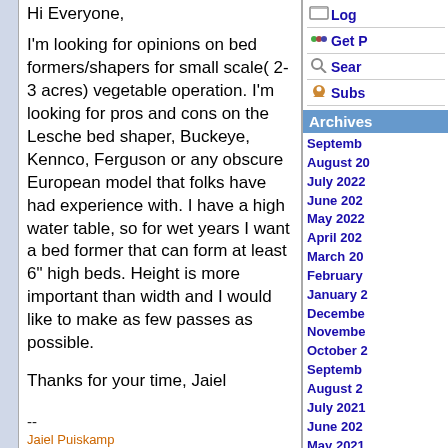Hi Everyone,
I'm looking for opinions on bed formers/shapers for small scale( 2-3 acres) vegetable operation. I'm looking for pros and cons on the Lesche bed shaper, Buckeye, Kennco, Ferguson or any obscure European model that folks have had experience with. I have a high water table, so for wet years I want a bed former that can form at least 6" high beds. Height is more important than width and I would like to make as few passes as possible.
Thanks for your time, Jaiel
--
Jaiel Puiskamp
Kettle Song Farm
802-223-7594
[log in to unmask]
Log
Get P
Sear
Subs
Archives
Septemb
August 20
July 2022
June 202
May 2022
April 202
March 20
February
January 2
Decembe
Novembe
October 2
Septemb
August 2
July 2021
June 202
May 2021
April 202
March 20
February
January